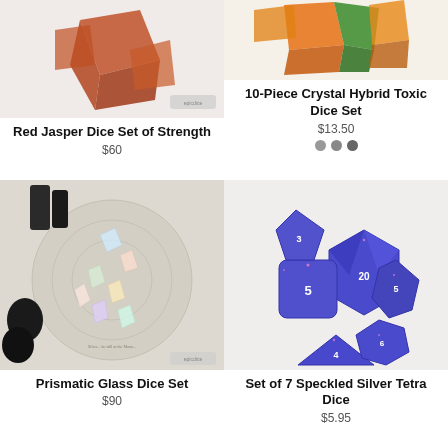[Figure (photo): Red Jasper polyhedral dice set on white background]
Red Jasper Dice Set of Strength
$60
[Figure (photo): 10-piece crystal hybrid toxic dice set in orange and green colors]
10-Piece Crystal Hybrid Toxic Dice Set
$13.50
[Figure (photo): Prismatic glass dice set arranged on a circular ritual board with crystals]
Prismatic Glass Dice Set
$90
[Figure (photo): Set of 7 speckled silver tetra dice in blue and purple colors]
Set of 7 Speckled Silver Tetra Dice
$5.95